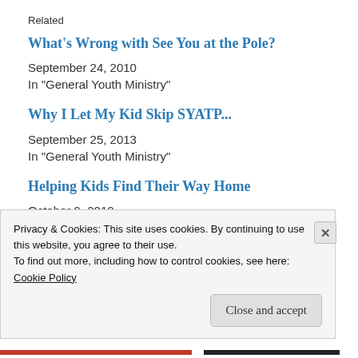Related
What’s Wrong with See You at the Pole?
September 24, 2010
In "General Youth Ministry"
Why I Let My Kid Skip SYATP...
September 25, 2013
In "General Youth Ministry"
Helping Kids Find Their Way Home
October 9, 2010
Privacy & Cookies: This site uses cookies. By continuing to use this website, you agree to their use.
To find out more, including how to control cookies, see here:
Cookie Policy
Close and accept